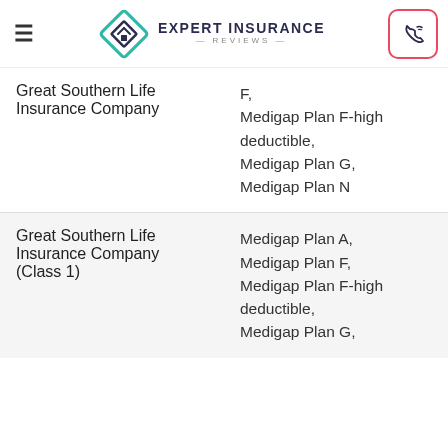Expert Insurance Reviews
| Company | Plans |
| --- | --- |
| Great Southern Life Insurance Company | F,
Medigap Plan F-high deductible,
Medigap Plan G,
Medigap Plan N |
| Great Southern Life Insurance Company (Class 1) | Medigap Plan A,
Medigap Plan F,
Medigap Plan F-high deductible,
Medigap Plan G, |